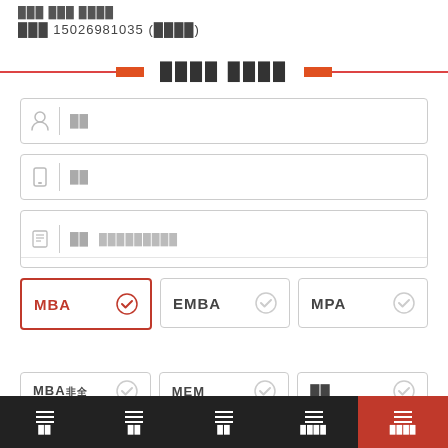手机 15026981035 (已绑定)
报名信息 填写
姓名 [input field]
手机 [input field]
意向 [input field] 请选择意向项目
MBA (selected)
EMBA
MPA
MBA非全 MEM 其他